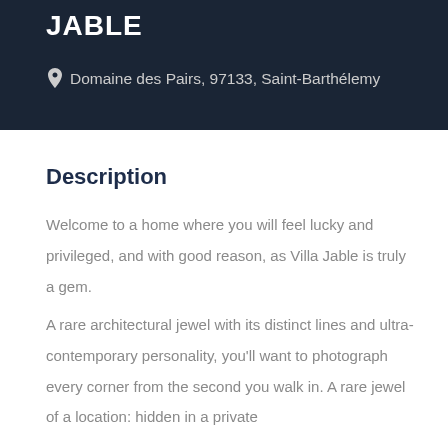JABLE
Domaine des Pairs, 97133, Saint-Barthélemy
Description
Welcome to a home where you will feel lucky and privileged, and with good reason, as Villa Jable is truly a gem.
A rare architectural jewel with its distinct lines and ultra-contemporary personality, you'll want to photograph every corner from the second you walk in. A rare jewel of a location: hidden in a private